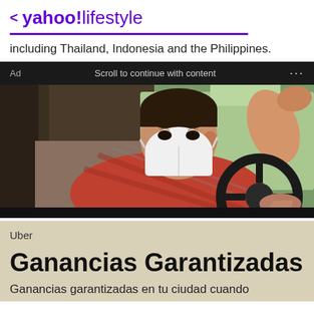< yahoo!lifestyle
including Thailand, Indonesia and the Philippines.
Ad   Scroll to continue with content   ...
[Figure (photo): A man wearing a red plaid shirt and a white face mask sitting in the driver's seat of a car, smiling at the camera with one hand raised to the car door frame and the other on the steering wheel.]
Uber
Ganancias Garantizadas
Ganancias garantizadas en tu ciudad cuando